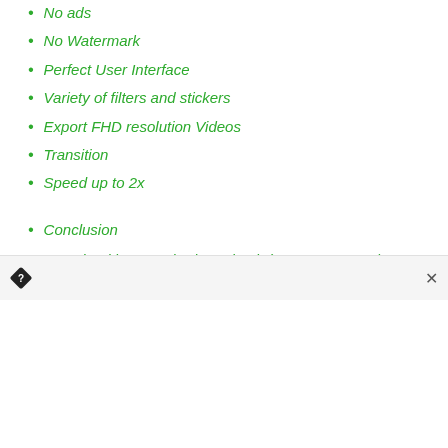No ads
No Watermark
Perfect User Interface
Variety of filters and stickers
Export FHD resolution Videos
Transition
Speed up to 2x
Conclusion
Download hungry shark mod apk (MOD, APK v1.0)
Introduction